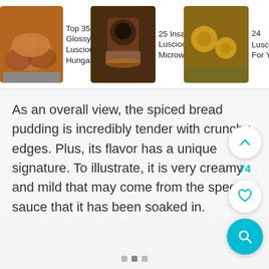[Figure (screenshot): Horizontal carousel showing three food article thumbnails: 'Top 35 Glossy & Luscious Hungarian...', '25 Insanely Luscious Microwave...', '24 Luscious Pear Dess... For Your...' with food photos.]
As an overall view, the spiced bread pudding is incredibly tender with crunchy edges. Plus, its flavor has a unique signature. To illustrate, it is very creamy and mild that may come from the special sauce that it has been soaked in.